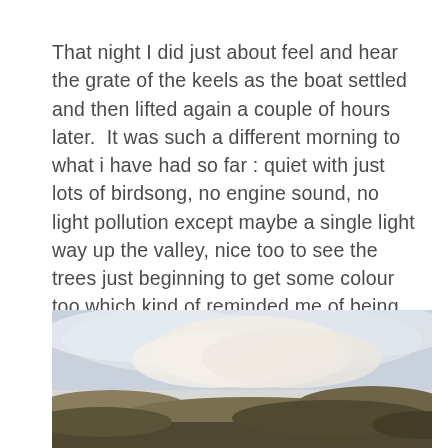That night I did just about feel and hear the grate of the keels as the boat settled and then lifted again a couple of hours later.  It was such a different morning to what i have had so far : quiet with just lots of birdsong, no engine sound, no light pollution except maybe a single light way up the valley, nice too to see the trees just beginning to get some colour too which kind of reminded me of being at a woodland camp at this time of year as the first anchorage seems to be completely surrounded by woodland.
[Figure (photo): Outdoor landscape photo showing a cloudy sky with soft white and grey clouds, a pale horizon, and dark wooded hillside or terrain at the bottom right.]